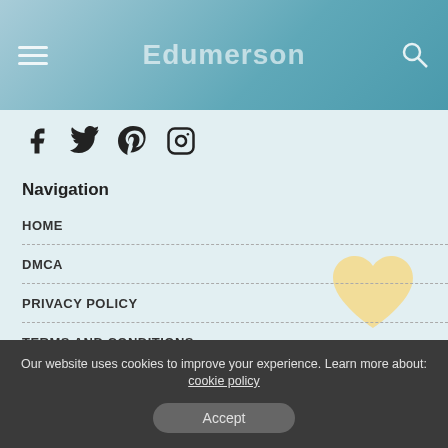Edumerson
[Figure (other): Social media icons: Facebook, Twitter, Pinterest, Instagram]
Navigation
HOME
DMCA
PRIVACY POLICY
TERMS AND CONDITIONS
CONTACT US
ABOUT US
Our website uses cookies to improve your experience. Learn more about: cookie policy
Accept